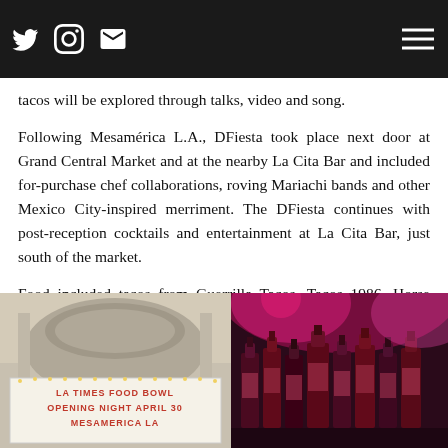[Social icons: Twitter, Instagram, Email] [Hamburger menu]
tacos will be explored through talks, video and song.
Following Mesamérica L.A., DFiesta took place next door at Grand Central Market and at the nearby La Cita Bar and included for-purchase chef collaborations, roving Mariachi bands and other Mexico City-inspired merriment. The DFiesta continues with post-reception cocktails and entertainment at La Cita Bar, just south of the market.
Food included tacos from Guerrilla Tacos, Tacos 1986, Horse Thief BBQ, Los Panchos, Petty Cash, Sari Sari Store, The Oyster Gourmet, China Café and Enrique Olvera's forthcoming taqueria Ditroit.
[Figure (photo): Theatre marquee sign reading 'LA TIMES FOOD BOWL OPENING NIGHT APRIL 30 MESAMERICA LA' with ornate architectural detail above]
[Figure (photo): Wine bottles illuminated under pink/purple lighting at an event or bar setting]